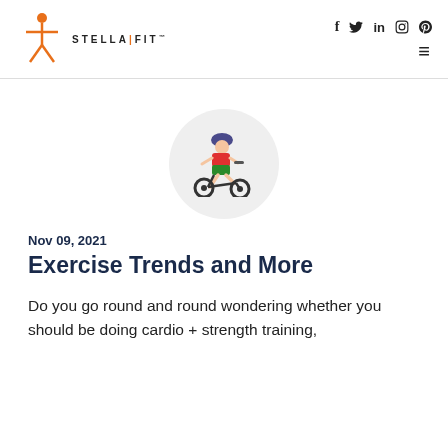STELLA FIT — social icons: f, twitter, in, instagram, pinterest — hamburger menu
[Figure (illustration): Cyclist emoji illustration on a light gray circular background — person riding a bicycle wearing a helmet, red shirt, green shorts]
Nov 09, 2021
Exercise Trends and More
Do you go round and round wondering whether you should be doing cardio + strength training,